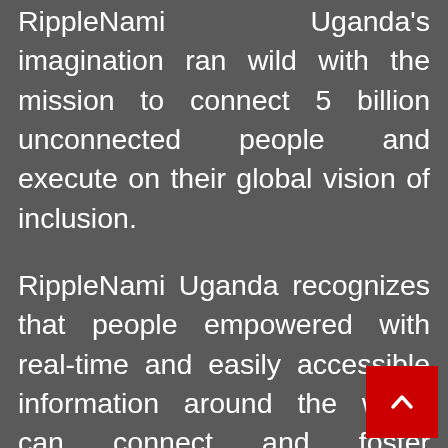RippleNami Uganda's imagination ran wild with the mission to connect 5 billion unconnected people and execute on their global vision of inclusion.
RippleNami Uganda recognizes that people empowered with real-time and easily accessible information around the world can connect and foster unimaginable change.
RippleNami Uganda has developed the first blockchain traceability and transparency